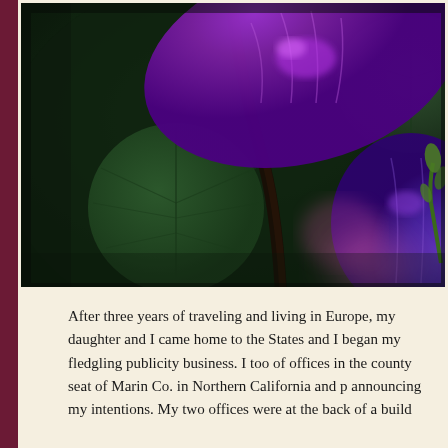[Figure (photo): Close-up photograph of purple/violet flowers (possibly morning glory or similar) with dark green round leaves in the background. The flowers are vibrant purple with blue-purple hues, shot in macro style with soft bokeh background.]
After three years of traveling and living in Europe, my daughter and I came home to the States and I began my fledgling publicity business. I took a couple of offices in the county seat of Marin Co. in Northern California and put up a sign announcing my intentions. My two offices were at the back of a building